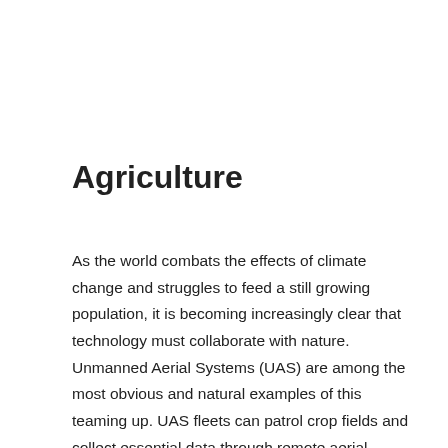Agriculture
As the world combats the effects of climate change and struggles to feed a still growing population, it is becoming increasingly clear that technology must collaborate with nature. Unmanned Aerial Systems (UAS) are among the most obvious and natural examples of this teaming up. UAS fleets can patrol crop fields and collect essential data through remote aerial inspection. Vinveli's UAS are an essential component of precision agriculture, helping lower inputs and stresses on the land while at the same time increasing yields.